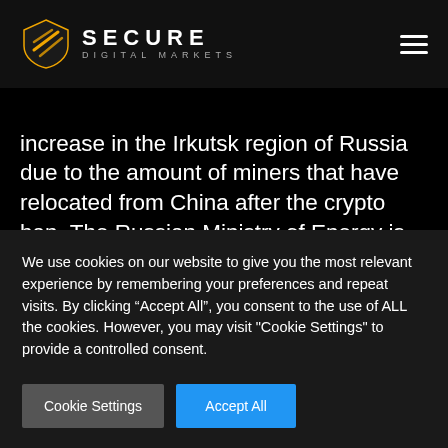[Figure (logo): Secure Digital Markets logo with golden shield/arrow icon and white text]
increase in the Irkutsk region of Russia due to the amount of miners that have relocated from China after the crypto ban. The Russian Ministry of Energy is looking into generating electricity tariffs for crypto miners. Globally, Russia...
We use cookies on our website to give you the most relevant experience by remembering your preferences and repeat visits. By clicking “Accept All”, you consent to the use of ALL the cookies. However, you may visit "Cookie Settings" to provide a controlled consent.